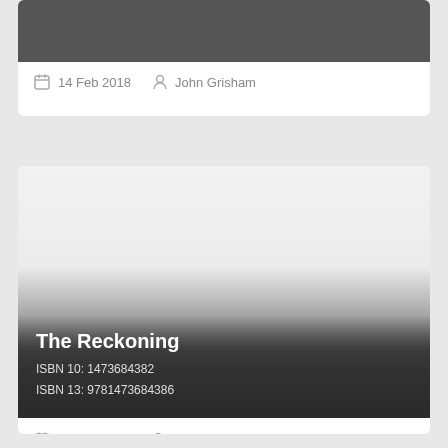[Figure (other): Dark gray header image of a book card (partially visible at top)]
14 Feb 2018   John Grisham
[Figure (illustration): Book cover image for 'The Reckoning' with gradient from light gray to dark gray]
The Reckoning
ISBN 10: 1473684382
ISBN 13: 9781473684386
23 Oct 2018   John Grisham